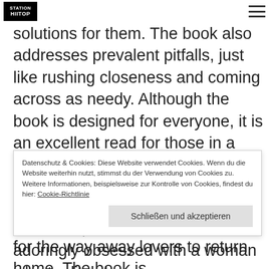Station Hilltop logo
solutions for them. The book also addresses prevalent pitfalls, just like rushing closeness and coming across as needy. Although the book is designed for everyone, it is an excellent read for those in a long-distance romantic relationship.
Dear Kim is another well-known long-distance romance book. With this novel, a man who became adoringly obsessed with a woman who to ditch her
Datenschutz & Cookies: Diese Website verwendet Cookies. Wenn du die Website weiterhin nutzt, stimmst du der Verwendung von Cookies zu. Weitere Informationen, beispielsweise zur Kontrolle von Cookies, findest du hier: Cookie-Richtlinie
for the way away lovers to return home. The book is